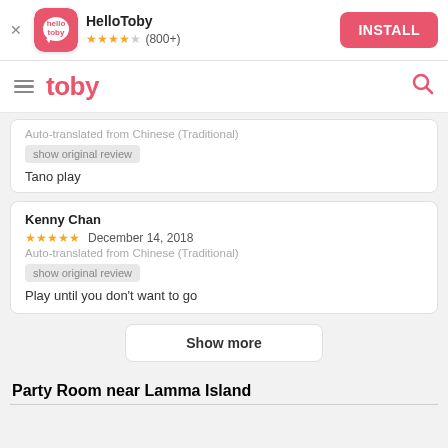[Figure (screenshot): HelloToby app install banner with logo, star rating (800+), and INSTALL button]
[Figure (screenshot): Toby website navigation bar with hamburger menu, toby logo, and search icon]
Auto-translated from Chinese (Traditional)
show original review
Tano play
Kenny Chan
★★★★★ December 14, 2018
Auto-translated from Chinese (Traditional)
show original review
Play until you don&#39;t want to go
Show more
Party Room near Lamma Island